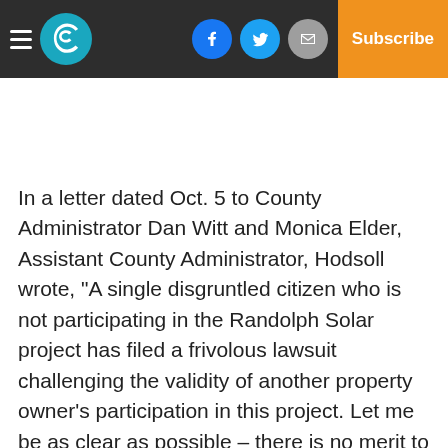Courier newspaper header with logo, social icons (Facebook, Twitter, Email), and Subscribe button
In a letter dated Oct. 5 to County Administrator Dan Witt and Monica Elder, Assistant County Administrator, Hodsoll wrote, “A single disgruntled citizen who is not participating in the Randolph Solar project has filed a frivolous lawsuit challenging the validity of another property owner’s participation in this project. Let me be as clear as possible – there is no merit to this litigation, and we are confident the